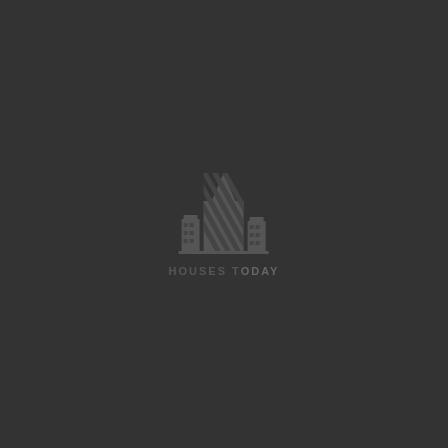[Figure (logo): Houses Today logo: stylized building/skyscraper icon in dark gray with diagonal stripe pattern, above text 'HOUSES TODAY' in uppercase bold letters, all rendered in dark gray tones on a dark charcoal background]